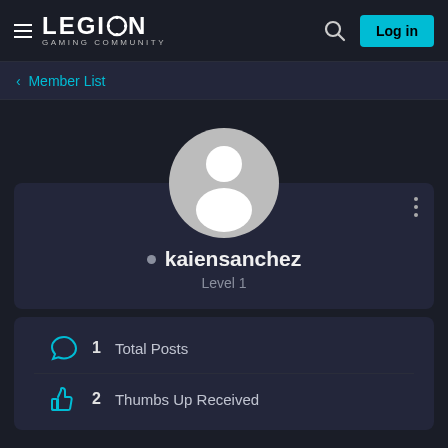LEGION GAMING COMMUNITY
< Member List
[Figure (illustration): Default user avatar: a circular grey profile silhouette with white person icon on grey background]
● kaiensanchez
Level 1
1  Total Posts
2  Thumbs Up Received